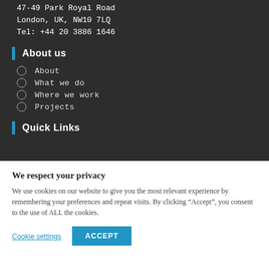47-49 Park Royal Road
London, UK, NW10 7LQ
Tel: +44 20 3886 1646
About us
About
What we do
Where we work
Projects
Quick Links
We respect your privacy
We use cookies on our website to give you the most relevant experience by remembering your preferences and repeat visits. By clicking “Accept”, you consent to the use of ALL the cookies.
Cookie settings | ACCEPT